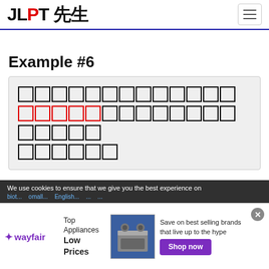JLPT 先生
Example #6
[Japanese question text with blanks highlighted in red]
We use cookies to ensure that we give you the best experience on
[Figure (screenshot): Wayfair advertisement banner: Top Appliances Low Prices with stove image and Shop now button]